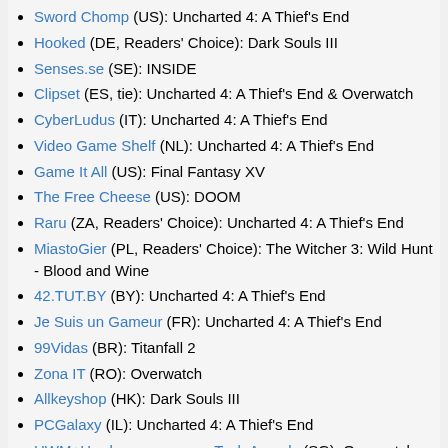Sword Chomp (US): Uncharted 4: A Thief's End
Hooked (DE, Readers' Choice): Dark Souls III
Senses.se (SE): INSIDE
Clipset (ES, tie): Uncharted 4: A Thief's End & Overwatch
CyberLudus (IT): Uncharted 4: A Thief's End
Video Game Shelf (NL): Uncharted 4: A Thief's End
Game It All (US): Final Fantasy XV
The Free Cheese (US): DOOM
Raru (ZA, Readers' Choice): Uncharted 4: A Thief's End
MiastoGier (PL, Readers' Choice): The Witcher 3: Wild Hunt - Blood and Wine
42.TUT.BY (BY): Uncharted 4: A Thief's End
Je Suis un Gameur (FR): Uncharted 4: A Thief's End
99Vidas (BR): Titanfall 2
Zona IT (RO): Overwatch
Allkeyshop (HK): Dark Souls III
PCGalaxy (IL): Uncharted 4: A Thief's End
HWM+Hardwarezone.com Tech Awards (SG): Overwatch
Brutal Gamer (US, tie): DOOM, Overwatch & Dishonored 2
Game Developers Choice Awards (US, Readers' Choice): Battlefield 1
Vigamus Magazine (IT): Overwatch
Cerealkillerz (AT, Readers' Choice): Uncharted 4: A Thief's End